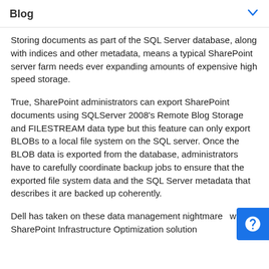Blog
Storing documents as part of the SQL Server database, along with indices and other metadata, means a typical SharePoint server farm needs ever expanding amounts of expensive high speed storage.
True, SharePoint administrators can export SharePoint documents using SQLServer 2008's Remote Blog Storage and FILESTREAM data type but this feature can only export BLOBs to a local file system on the SQL server. Once the BLOB data is exported from the database, administrators have to carefully coordinate backup jobs to ensure that the exported file system data and the SQL Server metadata that describes it are backed up coherently.
Dell has taken on these data management nightmares with a SharePoint Infrastructure Optimization solution leveraging the DX object storage system and Compaq...